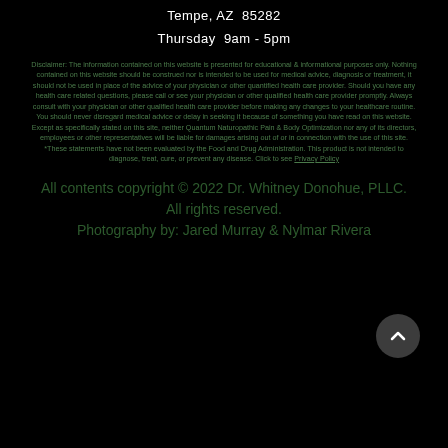Tempe, AZ  85282
Thursday  9am - 5pm
Disclaimer: The information contained on this website is presented for educational & informational purposes only. Nothing contained on this website should be construed nor is intended to be used for medical advice, diagnosis or treatment, it should not be used in place of the advice of your physician or other quantified health care provider. Should you have any health care related questions, please call or see your physician or other qualified health care provider promptly. Always consult with your physician or other qualified health care provider before making any changes to your healthcare routine. You should never disregard medical advice or delay in seeking it because of something you have read on this website. Except as specifically stated on this site, neither Quantum Naturopathic Pain & Body Optimization nor any of its directors, employees or other representatives will be liable for damages arising out of or in connection with the use of this site. *These statements have not been evaluated by the Food and Drug Administration. This product is not intended to diagnose, treat, cure, or prevent any disease. Click to see Privacy Policy
All contents copyright © 2022 Dr. Whitney Donohue, PLLC. All rights reserved.
Photography by: Jared Murray & Nylmar Rivera